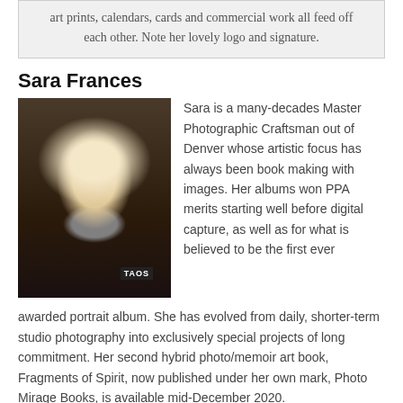art prints, calendars, cards and commercial work all feed off each other. Note her lovely logo and signature.
Sara Frances
[Figure (photo): Portrait photo of Sara Frances, a woman with curly blonde hair and dark-rimmed glasses, wearing a patterned jacket, with a TAOS badge visible]
Sara is a many-decades Master Photographic Craftsman out of Denver whose artistic focus has always been book making with images. Her albums won PPA merits starting well before digital capture, as well as for what is believed to be the first ever awarded portrait album. She has evolved from daily, shorter-term studio photography into exclusively special projects of long commitment. Her second hybrid photo/memoir art book, Fragments of Spirit, now published under her own mark, Photo Mirage Books, is available mid-December 2020.